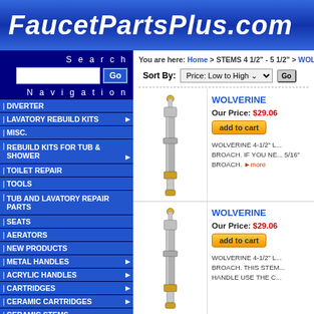FaucetPartsPlus.com
DIVERTER
LAVATORY REBUILD KITS
MISC.
REBUILD KITS FOR TUB & SHOWER
TOILET REPAIR
TOOLS
TUB AND LAVATORY REPAIR PARTS
SEATS
AERATORS
NEW PRODUCTS
METAL HANDLES
ACRYLIC HANDLES
CARTRIDGES
CERAMIC CARTRIDGES
CERAMIC STEMS
ESCUTCHEONS
FAUCETS
HANDLE CAPS
You are here: Home > STEMS 4 1/2" - 5 1/2" > WOLVERI...
Sort By: Price: Low to High
WOLVERINE
Our Price: $29.06
add to cart
WOLVERINE 4-1/2" L... BROACH. IF YOU NE... 5/16" BROACH. more
[Figure (photo): Photo of a chrome faucet stem/valve stem approximately 4-1/2 inches long]
WOLVERINE
Our Price: $29.06
add to cart
WOLVERINE 4-1/2" L... BROACH. THIS STEM... HANDLE USE THE C...
[Figure (photo): Photo of a second chrome faucet stem/valve stem approximately 4-1/2 inches long]